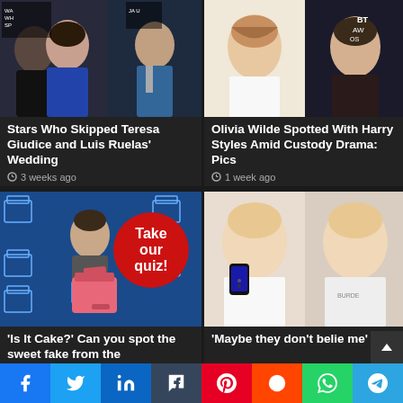[Figure (photo): Celebrity photo collage: couple and Andy Cohen]
Stars Who Skipped Teresa Giudice and Luis Ruelas' Wedding
3 weeks ago
[Figure (photo): Olivia Wilde and Harry Styles photos]
Olivia Wilde Spotted With Harry Styles Amid Custody Drama: Pics
1 week ago
[Figure (photo): Is It Cake? show promotional image with quiz badge]
'Is It Cake?' Can you spot the sweet fake from the
[Figure (photo): Young blonde woman in two photos]
'Maybe they don't belie me'